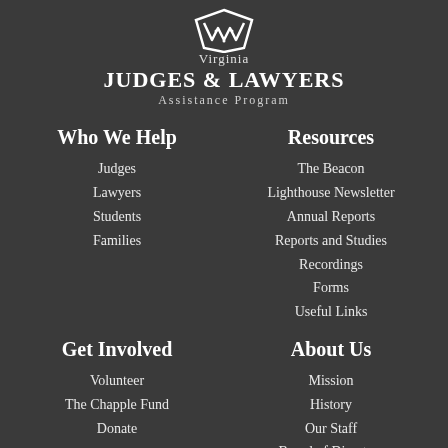[Figure (logo): Virginia Judges & Lawyers Assistance Program logo with geometric W/checkmark symbol]
Virginia JUDGES & LAWYERS Assistance Program
Who We Help
Judges
Lawyers
Students
Families
Resources
The Beacon
Lighthouse Newsletter
Annual Reports
Reports and Studies
Recordings
Forms
Useful Links
Get Involved
Volunteer
The Chapple Fund
Donate
About Us
Mission
History
Our Staff
Board of Directors
FAQs